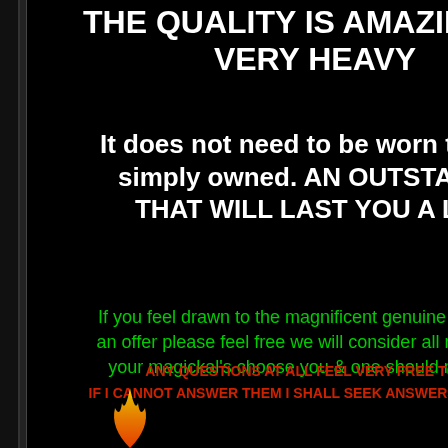THE QUALITY IS AMAZING , IT VERY HEAVY
It does not need to be worn to rea simply owned. AN OUTSTANDI THAT WILL LAST YOU A LIF
If you feel drawn to the magnificent genuine magikca an offer please feel free we will consider all reasonab your magickal's choose you & one should not be c
ANY QUESTIONS AT ALL FEEL VERY FREE TO A
IF I CANNOT ANSWER THEM I SHALL SEEK ANSWERS FROM MA